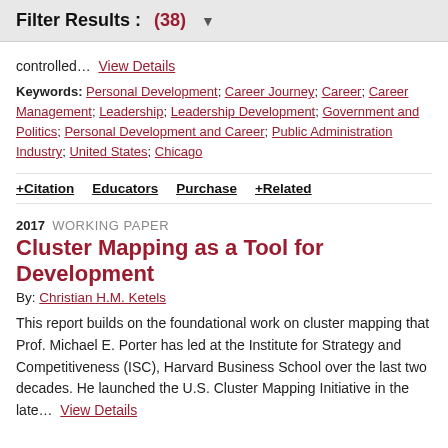Filter Results : (38)
controlled...  View Details
Keywords: Personal Development; Career Journey; Career; Career Management; Leadership; Leadership Development; Government and Politics; Personal Development and Career; Public Administration Industry; United States; Chicago
+ Citation   Educators   Purchase   + Related
2017  WORKING PAPER
Cluster Mapping as a Tool for Development
By: Christian H.M. Ketels
This report builds on the foundational work on cluster mapping that Prof. Michael E. Porter has led at the Institute for Strategy and Competitiveness (ISC), Harvard Business School over the last two decades. He launched the U.S. Cluster Mapping Initiative in the late...  View Details